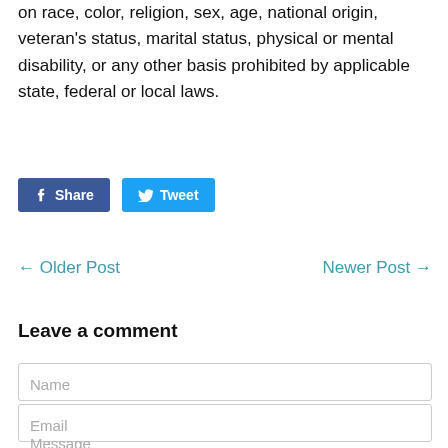on race, color, religion, sex, age, national origin, veteran's status, marital status, physical or mental disability, or any other basis prohibited by applicable state, federal or local laws.
[Figure (other): Social sharing buttons: Facebook Share button (dark blue) and Twitter Tweet button (light blue)]
← Older Post    Newer Post →
Leave a comment
Name
Email
Message